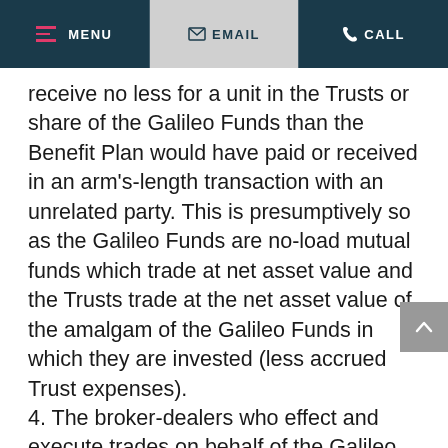MENU  EMAIL  CALL
receive no less for a unit in the Trusts or share of the Galileo Funds than the Benefit Plan would have paid or received in an arm’s-length transaction with an unrelated party. This is presumptively so as the Galileo Funds are no-load mutual funds which trade at net asset value and the Trusts trade at the net asset value of the amalgam of the Galileo Funds in which they are invested (less accrued Trust expenses).
4. The broker-dealers who effect and execute trades on behalf of the Galileo Funds are engaged on a “best execution” basis and are independent of and